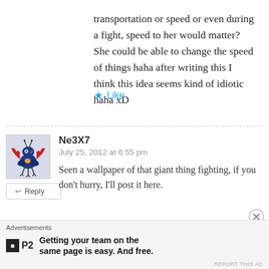transportation or speed or even during a fight, speed to her would matter? She could be able to change the speed of things haha after writing this I think this idea seems kind of idiotic haha xD
Like
Ne3X7
July 25, 2012 at 6:55 pm
Seen a wallpaper of that giant thing fighting, if you don't hurry, I'll post it here.
Reply
Advertisements
Getting your team on the same page is easy. And free.